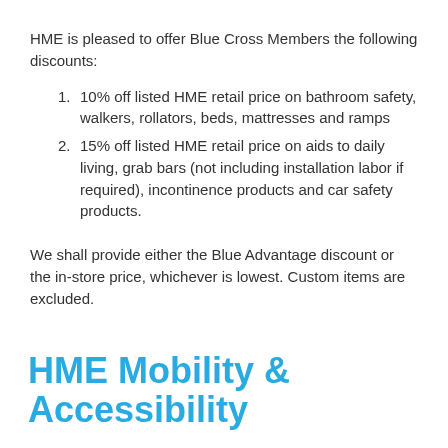HME is pleased to offer Blue Cross Members the following discounts:
10% off listed HME retail price on bathroom safety, walkers, rollators, beds, mattresses and ramps
15% off listed HME retail price on aids to daily living, grab bars (not including installation labor if required), incontinence products and car safety products.
We shall provide either the Blue Advantage discount or the in-store price, whichever is lowest. Custom items are excluded.
HME Mobility & Accessibility